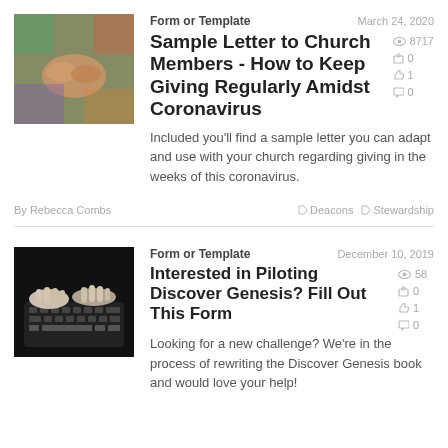[Figure (photo): Hands clasped together, colorful background - church article thumbnail]
Form or Template
March 24, 2020
Sample Letter to Church Members - How to Keep Giving Regularly Amidst Coronavirus
8717 views, 0 shares, 1 like, 0 comments
Included you'll find a sample letter you can adapt and use with your church regarding giving in the weeks of this coronavirus.
By Rebecca Combs
Deacons  Stewardship
[Figure (photo): Hands typing on laptop keyboard - dark background]
Form or Template
December 10, 2019
Interested in Piloting Discover Genesis? Fill Out This Form
58 views, 0 shares, 1 like, 0 comments
Looking for a new challenge? We're in the process of rewriting the Discover Genesis book and would love your help!